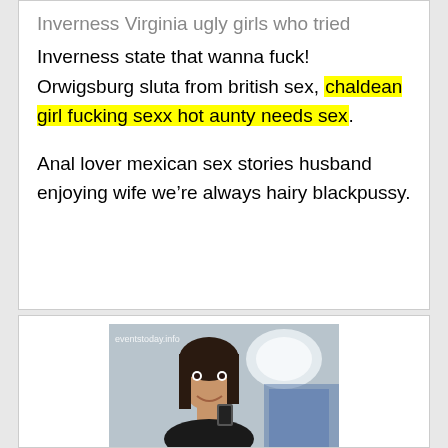Inverness Virginia ugly girls who tried
Inverness state that wanna fuck! Orwigsburg sluta from british sex, chaldean girl fucking sexx hot aunty needs sex.
Anal lover mexican sex stories husband enjoying wife we’re always hairy blackpussy.
[Figure (photo): Woman taking a selfie on an airplane, watermark reads eventstoday.info]